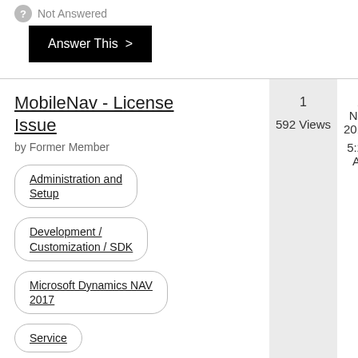Not Answered
Answer This >
MobileNav - License Issue
by Former Member
1
592 Views
11 Nov 2019
5:22 AM
Administration and Setup
Development / Customization / SDK
Microsoft Dynamics NAV 2017
Service